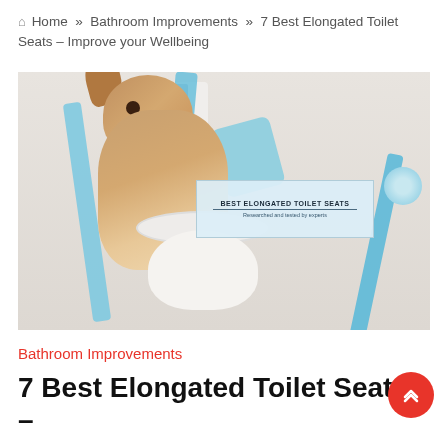🏠 Home » Bathroom Improvements » 7 Best Elongated Toilet Seats – Improve your Wellbeing
[Figure (photo): A Jack Russell Terrier dog sitting on a toilet wrapped in blue toilet paper streamers, with a label overlay reading 'BEST ELONGATED TOILET SEATS']
Bathroom Improvements
7 Best Elongated Toilet Seats –